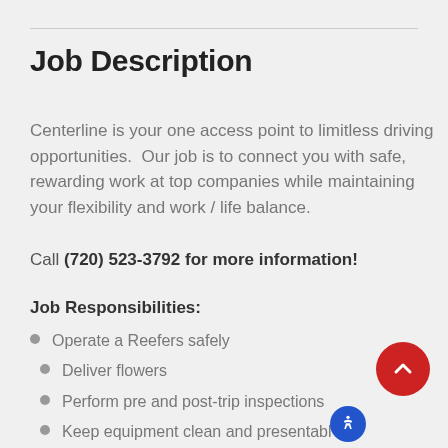Job Description
Centerline is your one access point to limitless driving opportunities.  Our job is to connect you with safe, rewarding work at top companies while maintaining your flexibility and work / life balance.
Call (720) 523-3792 for more information!
Job Responsibilities:
Operate a Reefers safely
Deliver flowers
Perform pre and post-trip inspections
Keep equipment clean and presentable